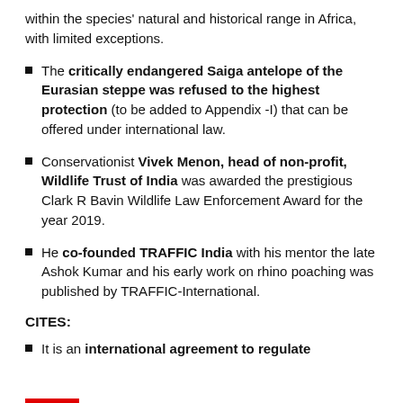within the species' natural and historical range in Africa, with limited exceptions.
The critically endangered Saiga antelope of the Eurasian steppe was refused to the highest protection (to be added to Appendix -I) that can be offered under international law.
Conservationist Vivek Menon, head of non-profit, Wildlife Trust of India was awarded the prestigious Clark R Bavin Wildlife Law Enforcement Award for the year 2019.
He co-founded TRAFFIC India with his mentor the late Ashok Kumar and his early work on rhino poaching was published by TRAFFIC-International.
CITES:
It is an international agreement to regulate